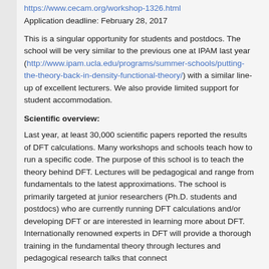https://www.cecam.org/workshop-1326.html
Application deadline: February 28, 2017
This is a singular opportunity for students and postdocs. The school will be very similar to the previous one at IPAM last year (http://www.ipam.ucla.edu/programs/summer-schools/putting-the-theory-back-in-density-functional-theory/) with a similar line-up of excellent lecturers. We also provide limited support for student accommodation.
Scientific overview:
Last year, at least 30,000 scientific papers reported the results of DFT calculations. Many workshops and schools teach how to run a specific code. The purpose of this school is to teach the theory behind DFT. Lectures will be pedagogical and range from fundamentals to the latest approximations. The school is primarily targeted at junior researchers (Ph.D. students and postdocs) who are currently running DFT calculations and/or developing DFT or are interested in learning more about DFT. Internationally renowned experts in DFT will provide a thorough training in the fundamental theory through lectures and pedagogical research talks that connect